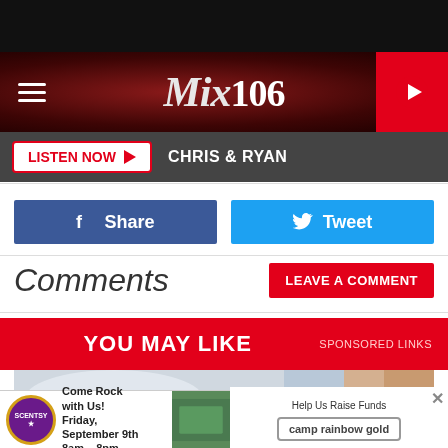[Figure (logo): Mix 106 radio station logo on dark red textured background with hamburger menu icon on left and red play button on right]
LISTEN NOW  CHRIS & RYAN
[Figure (infographic): Facebook Share button (blue) and Twitter Tweet button (cyan) side by side]
Comments
LEAVE A COMMENT
YOU MAY LIKE   SPONSORED LINKS
[Figure (photo): Partial photo of a snowy tree or white blossoms]
[Figure (infographic): Advertisement: Scentsy Come Rock with Us! Friday, September 9th 8am-8pm | People sitting photo | Help Us Raise Funds camp rainbow gold]